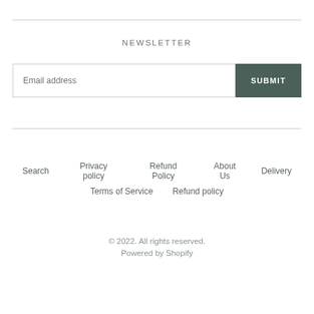NEWSLETTER
Email address
SUBMIT
Search   Privacy policy   Refund Policy   About Us   Delivery   Terms of Service   Refund policy
© 2022. All rights reserved.
Powered by Shopify